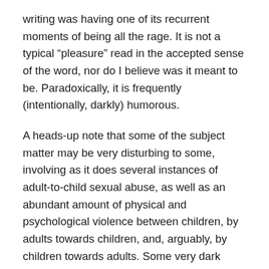writing was having one of its recurrent moments of being all the rage. It is not a typical “pleasure” read in the accepted sense of the word, nor do I believe was it meant to be. Paradoxically, it is frequently (intentionally, darkly) humorous.
A heads-up note that some of the subject matter may be very disturbing to some, involving as it does several instances of adult-to-child sexual abuse, as well as an abundant amount of physical and psychological violence between children, by adults towards children, and, arguably, by children towards adults. Some very dark places are being explored here, which I will address more fully when I get to the bit about the author at the end of this post.
You will have gathered by now that childhood as a state of